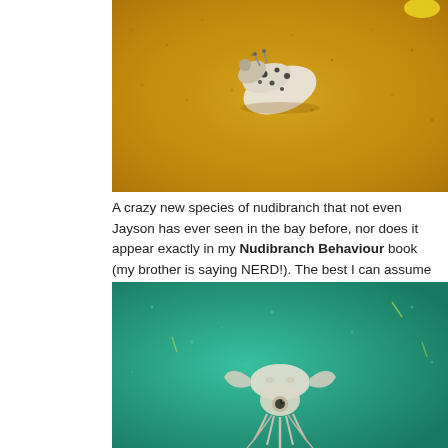[Figure (photo): Close-up photo of a nudibranch (sea slug) on sandy ocean floor, showing a white and black spotted creature on golden-brown sand]
A crazy new species of nudibranch that not even Jayson has ever seen in the bay before, nor does it appear exactly in my Nudibranch Behaviour book (my brother is saying NERD!). The best I can assume is that he is an Aegires serenae; a Western pacific dorid nudibranch. Interestingly we are on the wrong side of the Philippines to be in the Western pacific....
[Figure (photo): Underwater photo of a squid swimming in green-tinted water]